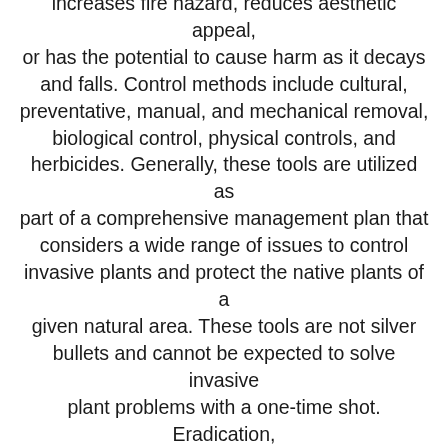increases fire hazard, reduces aesthetic appeal, or has the potential to cause harm as it decays and falls. Control methods include cultural, preventative, manual, and mechanical removal, biological control, physical controls, and herbicides. Generally, these tools are utilized as part of a comprehensive management plan that considers a wide range of issues to control invasive plants and protect the native plants of a given natural area. These tools are not silver bullets and cannot be expected to solve invasive plant problems with a one-time shot. Eradication, which is the complete elimination of all living propagules of a species, is extremely difficult and often infeasible for well-established invasive plants. Without a clear management plan and long-term commitment, most single invasive plant control efforts result in short-lived success.